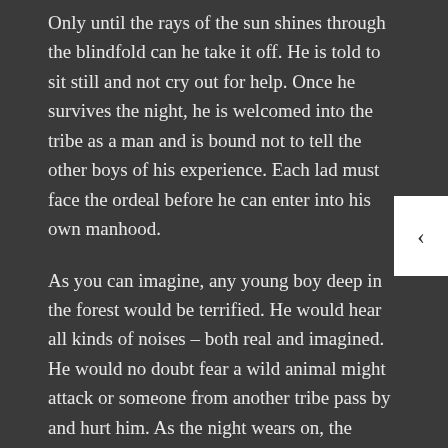Only until the rays of the sun shines through the blindfold can he take it off. He is told to sit still and not cry out for help. Once he survives the night, he is welcomed into the tribe as a man and is bound not to tell the other boys of his experience. Each lad must face the ordeal before he can enter into his own manhood.
As you can imagine, any young boy deep in the forest would be terrified. He would hear all kinds of noises – both real and imagined. He would no doubt fear a wild animal might attack or someone from another tribe pass by and hurt him. As the night wears on, the noises continue, but the young lad must sit stoically, never removing the blindfold or making a noise. It was the only way he could become a man.
After what seemingly feels like an eternity, the sound of the night begins to dissipate. Eventually, the young initiate can feel the warmth of the sun on his face and see the light coming through the blindfold. As he slowly removes his blindfold, only then will he see his father – sitting on a stump next to him – on watch the entire night.